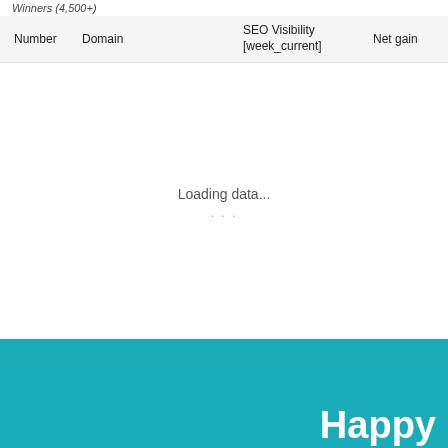Winners (4,500+)
| Number | Domain | SEO Visibility [week_current] | Net gain |
| --- | --- | --- | --- |
Loading data... ...
Happy